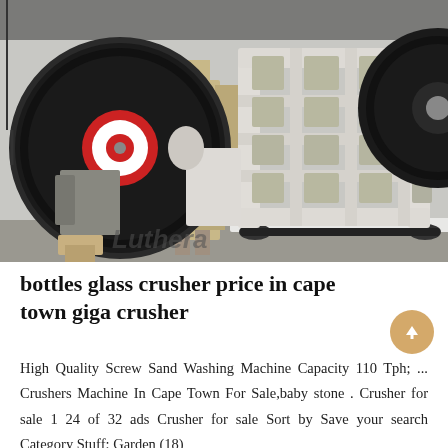[Figure (photo): Industrial jaw crusher machine photographed in a factory/warehouse setting. The crusher has a large white metal frame with a 4x4 grid of rectangular wear plates visible on the front crushing jaw. Two large black flywheels are visible on the sides, with the left one showing a red and white center hub. Additional industrial machinery visible in background. A watermark 'Luthera' appears in the lower left of the image.]
bottles glass crusher price in cape town giga crusher
High Quality Screw Sand Washing Machine Capacity 110 Tph; ... Crushers Machine In Cape Town For Sale,baby stone . Crusher for sale 1 24 of 32 ads Crusher for sale Sort by Save your search Category Stuff; Garden (18)